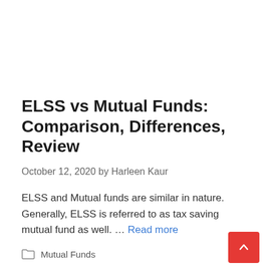ELSS vs Mutual Funds: Comparison, Differences, Review
October 12, 2020 by Harleen Kaur
ELSS and Mutual funds are similar in nature. Generally, ELSS is referred to as tax saving mutual fund as well. … Read more
Mutual Funds